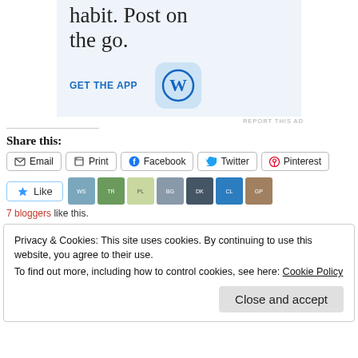[Figure (screenshot): WordPress mobile app advertisement banner with large text 'habit. Post on the go.' and 'GET THE APP' CTA with WordPress logo]
REPORT THIS AD
Share this:
Email
Print
Facebook
Twitter
Pinterest
[Figure (screenshot): Like button with star icon and 7 blogger avatars]
7 bloggers like this.
Privacy & Cookies: This site uses cookies. By continuing to use this website, you agree to their use. To find out more, including how to control cookies, see here: Cookie Policy
Close and accept